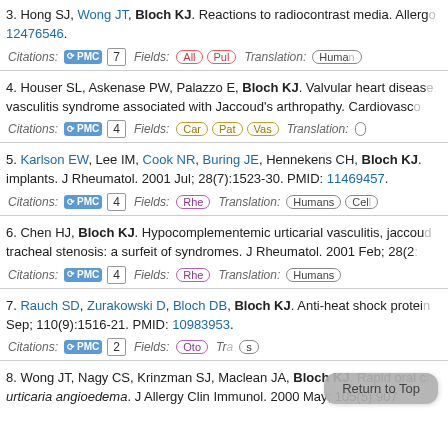3. Hong SJ, Wong JT, Bloch KJ. Reactions to radiocontrast media. Allergy... 12476546. Citations: PMC 7 Fields: All Pul Translation: Humans
4. Houser SL, Askenase PW, Palazzo E, Bloch KJ. Valvular heart disease... vasculitis syndrome associated with Jaccoud's arthropathy. Cardiovasc... Citations: PMC 4 Fields: Car Pat Vas Translation:
5. Karlson EW, Lee IM, Cook NR, Buring JE, Hennekens CH, Bloch KJ. ...implants. J Rheumatol. 2001 Jul; 28(7):1523-30. PMID: 11469457. Citations: PMC 4 Fields: Rhe Translation: Humans Cel
6. Chen HJ, Bloch KJ. Hypocomplementemic urticarial vasculitis, jaccoud... tracheal stenosis: a surfeit of syndromes. J Rheumatol. 2001 Feb; 28(2... Citations: PMC 4 Fields: Rhe Translation: Humans
7. Rauch SD, Zurakowski D, Bloch DB, Bloch KJ. Anti-heat shock protein... Sep; 110(9):1516-21. PMID: 10983953. Citations: PMC 2 Fields: Oto Tr... s
8. Wong JT, Nagy CS, Krinzman SJ, Maclean JA, Bloch KJ. Rapid oral c... urticaria angioedema. J Allergy Clin Immunol. 2000 May; 105(5):907...